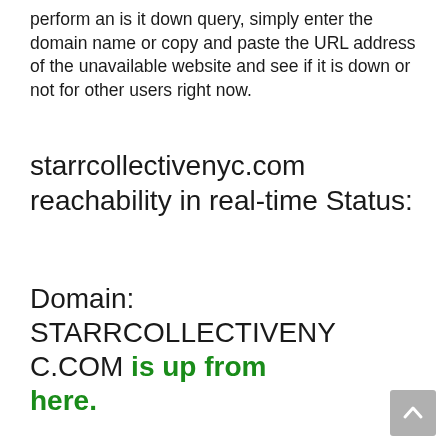perform an is it down query, simply enter the domain name or copy and paste the URL address of the unavailable website and see if it is down or not for other users right now.
starrcollectivenyc.com reachability in real-time Status:
Domain: STARRCOLLECTIVENYC.COM is up from here.